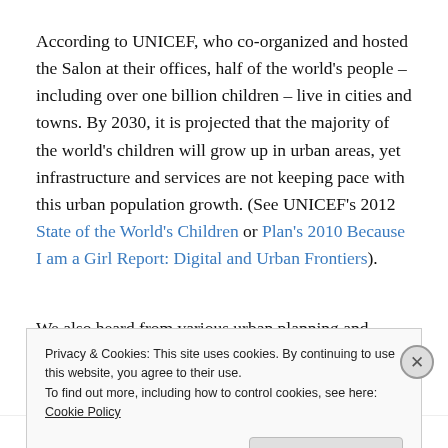According to UNICEF, who co-organized and hosted the Salon at their offices, half of the world's people – including over one billion children – live in cities and towns. By 2030, it is projected that the majority of the world's children will grow up in urban areas, yet infrastructure and services are not keeping pace with this urban population growth. (See UNICEF's 2012 State of the World's Children or Plan's 2010 Because I am a Girl Report: Digital and Urban Frontiers).
We also heard from various urban planning and development...
Privacy & Cookies: This site uses cookies. By continuing to use this website, you agree to their use.
To find out more, including how to control cookies, see here: Cookie Policy
[Close and accept]